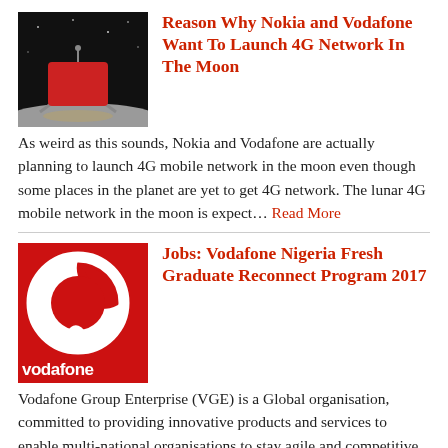[Figure (photo): Thumbnail image of a red lunar lander on the moon's surface at night]
Reason Why Nokia and Vodafone Want To Launch 4G Network In The Moon
As weird as this sounds, Nokia and Vodafone are actually planning to launch 4G mobile network in the moon even though some places in the planet are yet to get 4G network. The lunar 4G mobile network in the moon is expect… Read More
[Figure (logo): Vodafone logo – red background with white speech mark/comma symbol and 'vodafone' text at bottom]
Jobs: Vodafone Nigeria Fresh Graduate Reconnect Program 2017
Vodafone Group Enterprise (VGE) is a Global organisation, committed to providing innovative products and services to enable multi-national organisations to stay agile and competitive – wherever in the world they do business. Read More